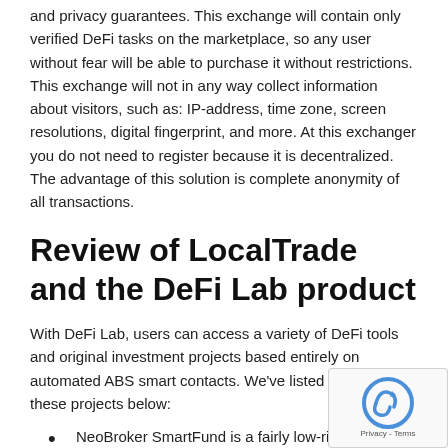and privacy guarantees. This exchange will contain only verified DeFi tasks on the marketplace, so any user without fear will be able to purchase it without restrictions. This exchange will not in any way collect information about visitors, such as: IP-address, time zone, screen resolutions, digital fingerprint, and more. At this exchanger you do not need to register because it is decentralized. The advantage of this solution is complete anonymity of all transactions.
Review of LocalTrade and the DeFi Lab product
With DeFi Lab, users can access a variety of DeFi tools and original investment projects based entirely on automated ABS smart contacts. We've listed a couple of these projects below:
NeoBroker SmartFund is a fairly low-risk investment